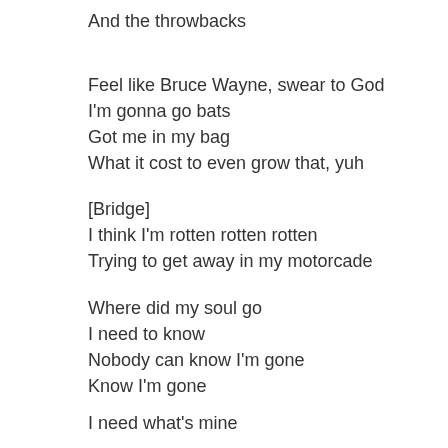And the throwbacks
Feel like Bruce Wayne, swear to God
I'm gonna go bats
Got me in my bag
What it cost to even grow that, yuh
[Bridge]
I think I'm rotten rotten rotten
Trying to get away in my motorcade
Where did my soul go
I need to know
Nobody can know I'm gone
Know I'm gone
I need what's mine